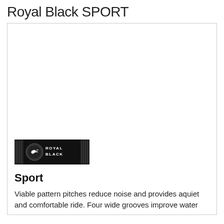Royal Black SPORT
[Figure (photo): Product image area (white/blank) for Royal Black Sport tire, with Royal Black brand logo (black background with ROYAL BLACK text and bird logo) in the lower left corner of the image panel.]
Sport
Viable pattern pitches reduce noise and provides aquiet and comfortable ride. Four wide grooves improve water